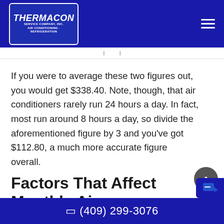Thermacon Service Company, Inc. — Air Conditioning · Refrigeration
If you were to average these two figures out, you would get $338.40. Note, though, that air conditioners rarely run 24 hours a day. In fact, most run around 8 hours a day, so divide the aforementioned figure by 3 and you've got $112.80, a much more accurate figure overall.
Factors That Affect Monthly Air
(409) 299-3076